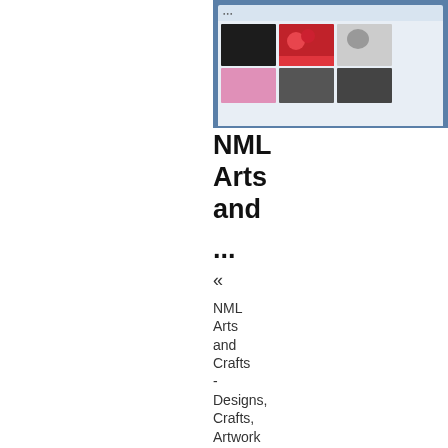[Figure (screenshot): Screenshot of a website showing a grid of thumbnail images (black, red floral, gray cat/animal) on a blue-gray background, with a second row of thumbnails partially visible (pink, dark gray).]
NML Arts and
...
«
NML Arts and Crafts - Designs, Crafts, Artwork and other Design Products by Nathalie M.L. Forster
(Clicks: 439; Comments: 0; Listing